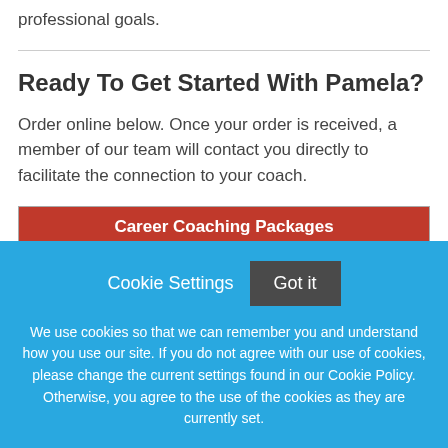professional goals.
Ready To Get Started With Pamela?
Order online below. Once your order is received, a member of our team will contact you directly to facilitate the connection to your coach.
| Career Coaching Packages | Add |
| --- | --- |
Cookie Settings
Got it
We use cookies so that we can remember you and understand how you use our site. If you do not agree with our use of cookies, please change the current settings found in our Cookie Policy. Otherwise, you agree to the use of the cookies as they are currently set.